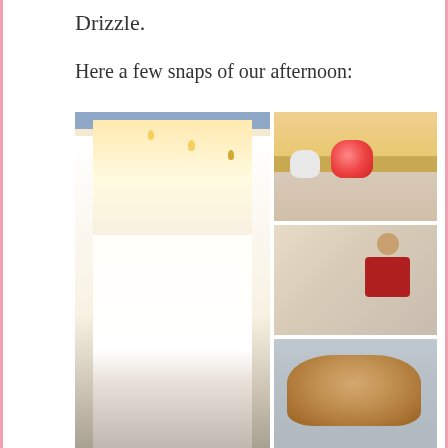Drizzle.
Here a few snaps of our afternoon:
[Figure (photo): Collage of four photos: a cozy kitchen viewed through a doorway with hanging Edison bulbs, a shelf with colorful teapots, a girl writing at a table, and a loaf of bread on a surface.]